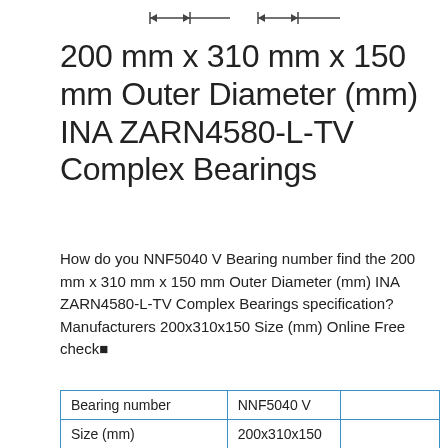[Figure (engineering-diagram): Technical dimension drawing showing bearing cross-section with dimension lines and arrows at top of page]
200 mm x 310 mm x 150 mm Outer Diameter (mm) INA ZARN4580-L-TV Complex Bearings
How do you NNF5040 V Bearing number find the 200 mm x 310 mm x 150 mm Outer Diameter (mm) INA ZARN4580-L-TV Complex Bearings specification? Manufacturers 200x310x150 Size (mm) Online Free check■
| Bearing number | NNF5040 V |  |
| Size (mm) | 200x310x150 |  |
| Brand | ISO |  |
| Bore Diameter (mm) | 200 |  |